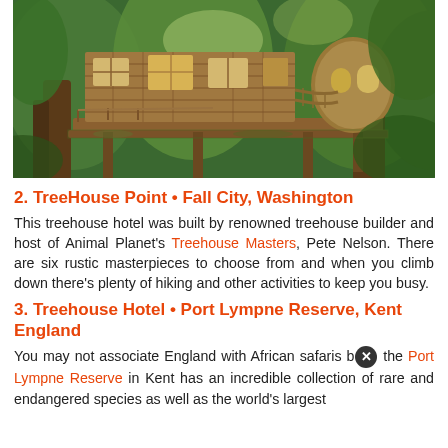[Figure (photo): A rustic wooden treehouse elevated on a large tree platform, with wooden bridges/walkways, multiple windows, and surrounded by tall green trees in a forest setting.]
2. TreeHouse Point • Fall City, Washington
This treehouse hotel was built by renowned treehouse builder and host of Animal Planet's Treehouse Masters, Pete Nelson. There are six rustic masterpieces to choose from and when you climb down there's plenty of hiking and other activities to keep you busy.
3. Treehouse Hotel • Port Lympne Reserve, Kent England
You may not associate England with African safaris but the Port Lympne Reserve in Kent has an incredible collection of rare and endangered species as well as the world's largest